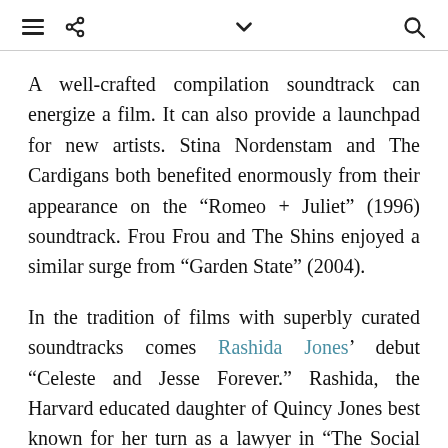Navigation bar with hamburger menu, share icon, chevron/dropdown icon, and search icon
A well-crafted compilation soundtrack can energize a film. It can also provide a launchpad for new artists. Stina Nordenstam and The Cardigans both benefited enormously from their appearance on the “Romeo + Juliet” (1996) soundtrack. Frou Frou and The Shins enjoyed a similar surge from “Garden State” (2004).
In the tradition of films with superbly curated soundtracks comes Rashida Jones’ debut “Celeste and Jesse Forever.” Rashida, the Harvard educated daughter of Quincy Jones best known for her turn as a lawyer in “The Social Network,” co-wrote, EP’ed, and starred in the plucky new film. The story explores a bizarrely co-dependent and ultimately unhealthy marriage that continues into its pre-divorce